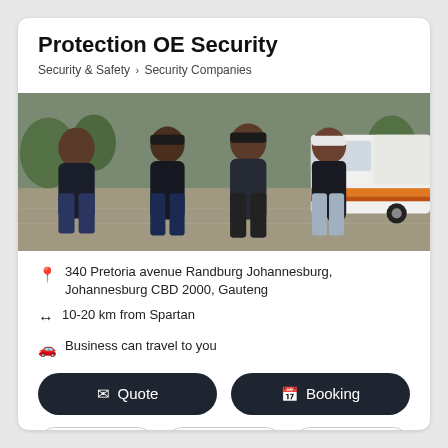Protection OE Security
Security & Safety > Security Companies
[Figure (photo): Four muscular men in dark uniforms/t-shirts standing outdoors near a white van on a paved area with trees in background.]
340 Pretoria avenue Randburg Johannesburg, Johannesburg CBD 2000, Gauteng
10-20 km from Spartan
Business can travel to you
Quote
Booking
Contact me
Email
www